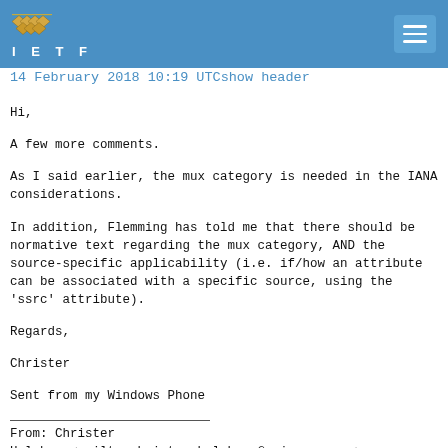IETF header with logo and navigation
14 February 2018 10:19 UTCshow header
Hi,
A few more comments.
As I said earlier, the mux category is needed in the IANA considerations.
In addition, Flemming has told me that there should be normative text regarding the mux category, AND the source-specific applicability (i.e. if/how an attribute can be associated with a specific source, using the 'ssrc' attribute).
Regards,
Christer
Sent from my Windows Phone
From: Christer Holmberg<mailto:christer.holmberg@ericsson.com>
Sent: 13/02/2018 12:35